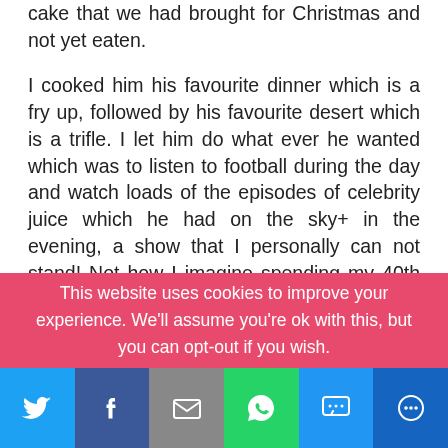cake that we had brought for Christmas and not yet eaten.

I cooked him his favourite dinner which is a fry up, followed by his favourite desert which is a trifle. I let him do what ever he wanted which was to listen to football during the day and watch loads of the episodes of celebrity juice which he had on the sky+ in the evening, a show that I personally can not stand! Not how I imagine spending my 40th birthday but he enjoyed himself and that is the most important thing.
This website uses cookies to improve your experience. We'll assume you're ok with this, but you can opt-out if you wish.
[Figure (infographic): Social share bar with Twitter, Facebook, Email, WhatsApp, SMS, and More buttons]